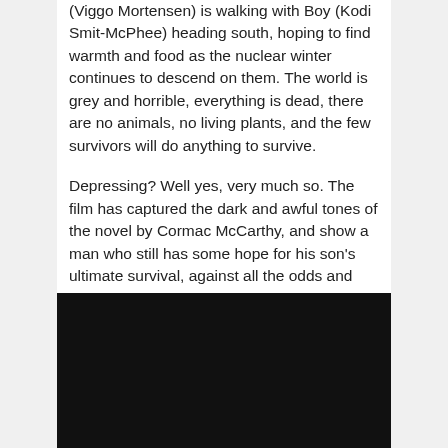(Viggo Mortensen) is walking with Boy (Kodi Smit-McPhee) heading south, hoping to find warmth and food as the nuclear winter continues to descend on them. The world is grey and horrible, everything is dead, there are no animals, no living plants, and the few survivors will do anything to survive.
Depressing? Well yes, very much so. The film has captured the dark and awful tones of the novel by Cormac McCarthy, and show a man who still has some hope for his son's ultimate survival, against all the odds and perhaps even against any sense. The film does have an odd thing going for it, and that it is the soundtrack; by Nick Cave and Warren Ellis, the music gives a strange and mysterious sense of hope. This juxtaposition shouldn't work, yet it is perfect.
[Figure (photo): A very dark, nearly black image — appears to be a still from a film, predominantly black with very little visible detail.]